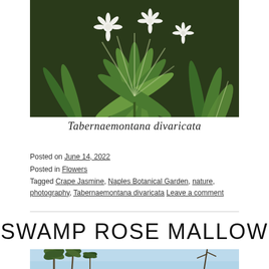[Figure (photo): Close-up photograph of Tabernaemontana divaricata (Crape Jasmine) plant with white star-shaped flowers and variegated green and white leaves against a dark background]
Tabernaemontana divaricata
Posted on June 14, 2022
Posted in Flowers
Tagged Crape Jasmine, Naples Botanical Garden, nature, photography, Tabernaemontana divaricata Leave a comment
SWAMP ROSE MALLOW
[Figure (photo): Partial photograph showing tops of palm trees and a plant stalk against a light blue sky, cropped at bottom of page]